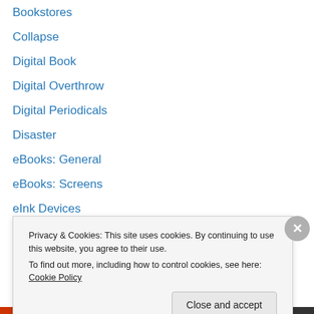Bookstores
Collapse
Digital Book
Digital Overthrow
Digital Periodicals
Disaster
eBooks: General
eBooks: Screens
eInk Devices
Fraud
Free Ain't
Freedom Tower
Friction
Privacy & Cookies: This site uses cookies. By continuing to use this website, you agree to their use. To find out more, including how to control cookies, see here: Cookie Policy
Close and accept